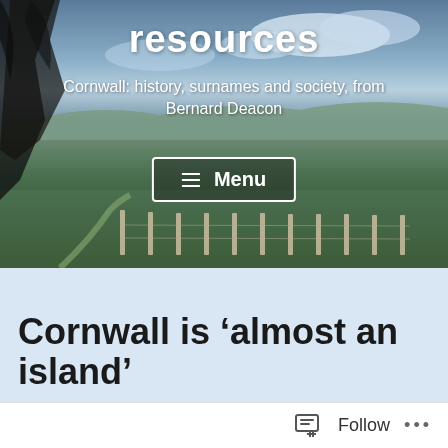[Figure (photo): Panoramic landscape photo of Cornish countryside with rolling hills, green fields, fence posts in the foreground, and a cloudy sky. Tree silhouette on the left edge.]
resources
Cornwall: history, surnames and society, from Bernard Deacon
≡ Menu
Cornwall is 'almost an island'
Follow